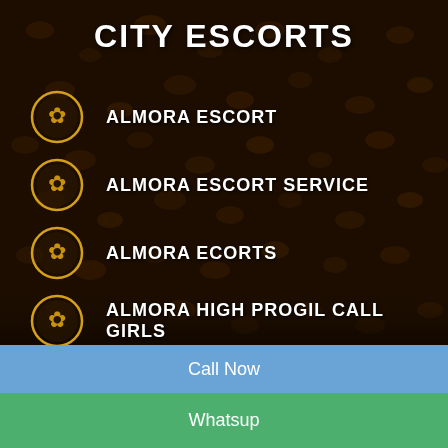CITY ESCORTS
ALMORA ESCORT
ALMORA ESCORT SERVICE
ALMORA ECORTS
ALMORA HIGH PROGIL CALL GIRLS
ALMORA CALL GIRLS
Call Now
Whatsup